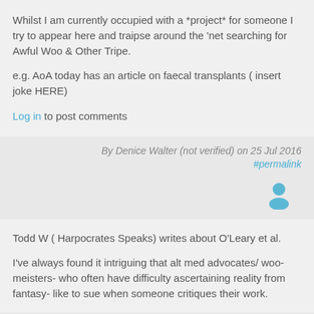Whilst I am currently occupied with a *project* for someone I try to appear here and traipse around the 'net searching for Awful Woo & Other Tripe.
e.g. AoA today has an article on faecal transplants ( insert joke HERE)
Log in to post comments
By Denice Walter (not verified) on 25 Jul 2016
#permalink
[Figure (illustration): User avatar icon — blue silhouette of a person]
Todd W ( Harpocrates Speaks) writes about O'Leary et al.
I've always found it intriguing that alt med advocates/ woo-meisters- who often have difficulty ascertaining reality from fantasy- like to sue when someone critiques their work.